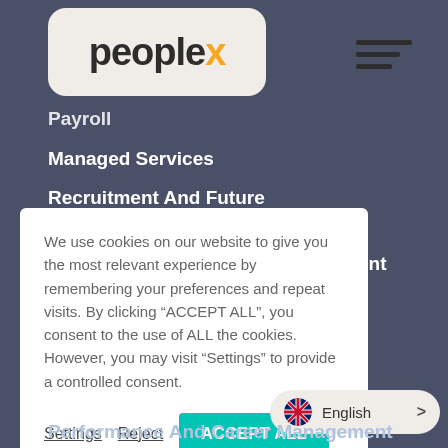[Figure (logo): Peoplex logo with orange 'x' on beige rounded rectangle background]
[Figure (other): Hamburger menu icon with three horizontal bars]
Payroll
Managed Services
Recruitment And Future Workforce Services
HR-Tech And Workforce Management
We use cookies on our website to give you the most relevant experience by remembering your preferences and repeat visits. By clicking “ACCEPT ALL”, you consent to the use of ALL the cookies. However, you may visit “Settings” to provide a controlled consent.
Settings  Reject  ACCEPT ALL
English
Performance And Career Management